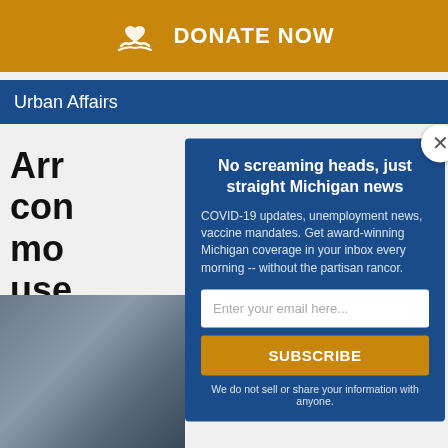[Figure (screenshot): Donate Now banner with gold background, hand icon, and white bold text]
Urban Affairs
Arr... con... mo... use...
[Figure (photo): Partially visible article photo showing dark objects on a table]
[Figure (screenshot): Modal popup newsletter signup overlay on blue background]
No screaming heads, just straight Michigan news
COVID-19 updates, unemployment news, vaccine mandates. Get award-winning Michigan coverage in your inbox every morning -- without the partisan rancor.
Enter your email here...
SUBSCRIBE
We do not sell or share your information with anyone.